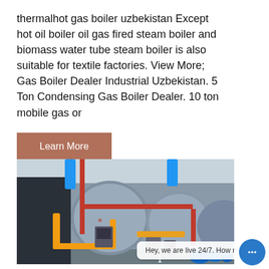thermalhot gas boiler uzbekistan Except hot oil boiler oil gas fired steam boiler and biomass water tube steam boiler is also suitable for textile factories. View More; Gas Boiler Dealer Industrial Uzbekistan. 5 Ton Condensing Gas Boiler Dealer. 10 ton mobile gas or
[Figure (other): Brown/terracotta 'Learn More' button]
[Figure (photo): Industrial gas boiler room with large cylindrical boilers, yellow and orange pipes, red piping, blue pipes at top, and Chinese branding on the boilers. Chat bubble overlay reading 'Hey, we are live 24/7. How may I help you?']
[Figure (infographic): Dark grey sidebar with Chat (headset icon), Email (envelope icon), Contact (speech bubble icon), and an up arrow icon. Blue floating chat button with ellipsis at bottom right.]